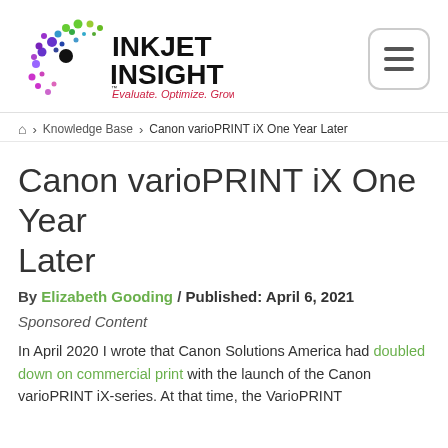[Figure (logo): Inkjet Insight logo with colorful dot pattern and tagline 'Evaluate. Optimize. Grow.']
Home > Knowledge Base > Canon varioPRINT iX One Year Later
Canon varioPRINT iX One Year Later
By Elizabeth Gooding / Published: April 6, 2021
Sponsored Content
In April 2020 I wrote that Canon Solutions America had doubled down on commercial print with the launch of the Canon varioPRINT iX-series. At that time, the VarioPRINT